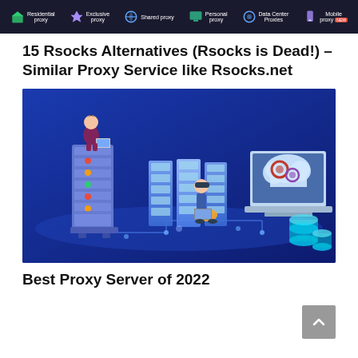Residential proxy | Exclusive proxy | Shared proxy | Personal proxy | Data Center Proxies | Mobile proxy NEW
15 Rsocks Alternatives (Rsocks is Dead!) – Similar Proxy Service like Rsocks.net
[Figure (illustration): Isometric illustration on dark blue background showing a person sitting on a server rack using a laptop, multiple server racks in the center, a person sitting on the ground using a laptop in the middle, a large laptop with a cloud and gears on its screen on the right, and decorative cylinders in the bottom right. Connected with circuit-board style lines.]
Best Proxy Server of 2022